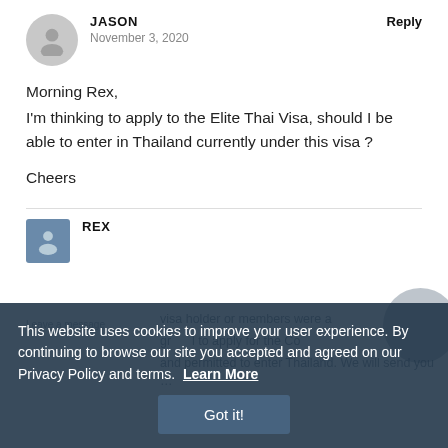[Figure (illustration): Gray circular avatar placeholder for user Jason]
JASON
November 3, 2020
Reply
Morning Rex,
I'm thinking to apply to the Elite Thai Visa, should I be able to enter in Thailand currently under this visa ?

Cheers
[Figure (illustration): Avatar photo of Rex in a rounded rectangle frame]
REX
This website uses cookies to improve your user experience. By continuing to browse our site you accepted and agreed on our Privacy Policy and terms.  Learn More
Got it!